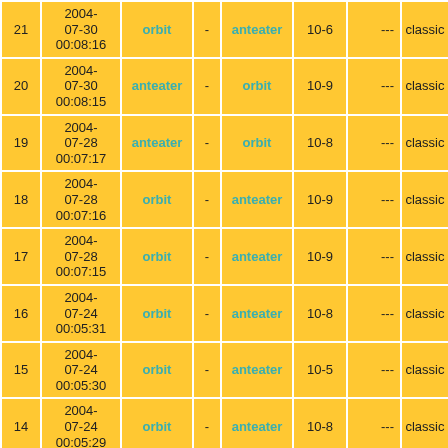| # | Date | Team1 | - | Team2 | Score | --- | Mode |
| --- | --- | --- | --- | --- | --- | --- | --- |
| 21 | 2004-07-30 00:08:16 | orbit | - | anteater | 10-6 | --- | classic |
| 20 | 2004-07-30 00:08:15 | anteater | - | orbit | 10-9 | --- | classic |
| 19 | 2004-07-28 00:07:17 | anteater | - | orbit | 10-8 | --- | classic |
| 18 | 2004-07-28 00:07:16 | orbit | - | anteater | 10-9 | --- | classic |
| 17 | 2004-07-28 00:07:15 | orbit | - | anteater | 10-9 | --- | classic |
| 16 | 2004-07-24 00:05:31 | orbit | - | anteater | 10-8 | --- | classic |
| 15 | 2004-07-24 00:05:30 | orbit | - | anteater | 10-5 | --- | classic |
| 14 | 2004-07-24 00:05:29 | orbit | - | anteater | 10-8 | --- | classic |
| 13 | 2004-07-23 00:05:07 | orbit | - | anteater | 10-2 | --- | classic |
|  | 2004- |  |  |  |  |  |  |